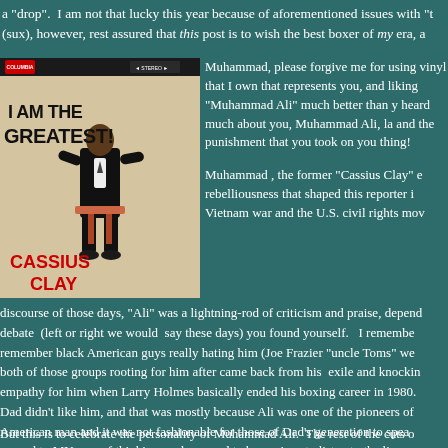a "drop".  I am not that lucky this year because of aforementioned issues with "t (sux), however, rest assured that this post is to wish the best boxer of my era, a
[Figure (photo): Album cover of 'I Am The Greatest!' by Cassius Clay, showing a young Muhammad Ali in a suit seated on a stool against a light background. Text in large bold letters reads 'I AM THE GREATEST!' with 'CASSIUS CLAY' in red below. Stereo Columbia Records label visible at top.]
Muhammad, please forgive me for using vinyl that I own that represents you, and liking "Muhammad Ali" much better than y heard much about you, Muhammad Ali, la and the punishment that you took on you thing!
Muhammad , the former "Cassius Clay" e rebelliousness that shaped this reporter i Vietnam war and the U.S. civil rights mov
discourse of those days, "Ali" was a lightning-rod of criticism and praise, depend debate  (left or right we would  say these days) you found yourself.   I remembe remember black American guys really hating him (Joe Frazier "uncle Toms" we both of those groups rooting for him after came back from his  exile and knockin empathy for him when Larry Holmes basically ended his boxing career in 1980. Dad didn't like him, and that was mostly because Ali was one of the pioneers of American man and it was not fashionable for those of Dad's generation to spea around to MY way of thinking, and we used to be anxious to listen to the live ma and read the New York Post's account of his matches, blow-by-blow, in the next
But this is to celebrate the personality of Muhammad Ali.  The rest of the cuts o